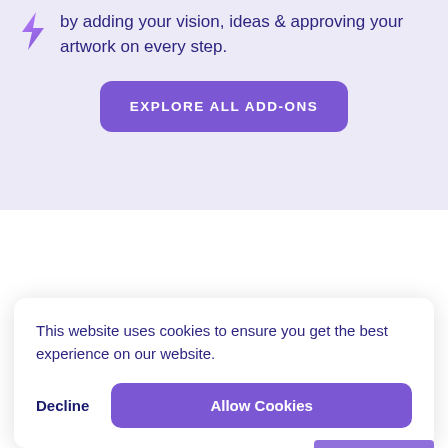by adding your vision, ideas & approving your artwork on every step.
EXPLORE ALL ADD-ONS
This website uses cookies to ensure you get the best experience on our website.
Decline
Allow Cookies